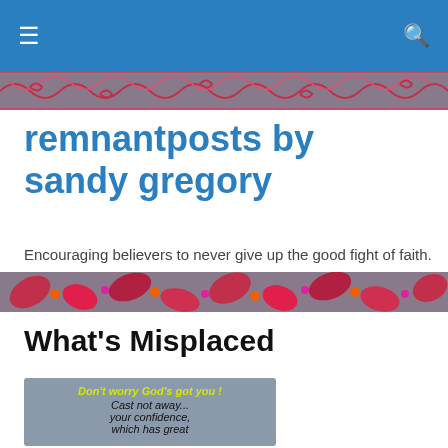remnantposts by sandy gregory — navigation bar with hamburger menu and search icon
[Figure (illustration): Decorative banner with swirling red and pink floral/vine patterns on a muted purple-gray background]
remnantposts by sandy gregory
Encouraging believers to never give up the good fight of faith.
[Figure (illustration): Decorative banner with red and magenta flower/leaf patterns on a muted purple-gray background]
What's Misplaced
[Figure (infographic): Quote card on gray background: 'Don't worry God's got you!' in yellow italic text at top, then 'Cast not away... your confidence, which has great recompense of reward' in black italic text, followed by 'Hebrews 10:35' in white bold text]